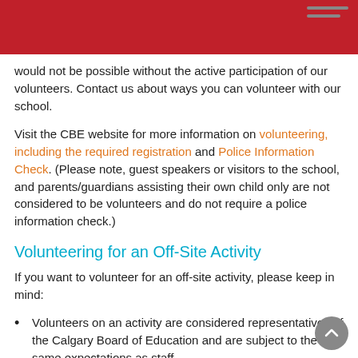would not be possible without the active participation of our volunteers. Contact us about ways you can volunteer with our school.
Visit the CBE website for more information on volunteering, including the required registration and Police Information Check. (Please note, guest speakers or visitors to the school, and parents/guardians assisting their own child only are not considered to be volunteers and do not require a police information check.)
Volunteering for an Off-Site Activity
If you want to volunteer for an off-site activity, please keep in mind:
Volunteers on an activity are considered representatives of the Calgary Board of Education and are subject to the same expectations as staff
Volunteers are subject to the requirements of CBE Administrative Regulation 5003 – Volunteers, which includes an application and a police security screening check
Volunteers are covered by the CBE's liability insurance